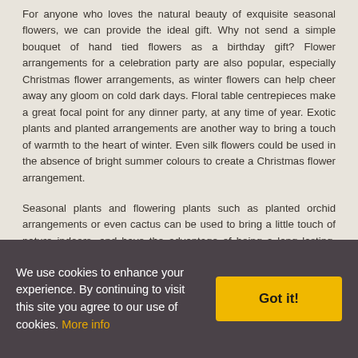For anyone who loves the natural beauty of exquisite seasonal flowers, we can provide the ideal gift. Why not send a simple bouquet of hand tied flowers as a birthday gift? Flower arrangements for a celebration party are also popular, especially Christmas flower arrangements, as winter flowers can help cheer away any gloom on cold dark days. Floral table centrepieces make a great focal point for any dinner party, at any time of year. Exotic plants and planted arrangements are another way to bring a touch of warmth to the heart of winter. Even silk flowers could be used in the absence of bright summer colours to create a Christmas flower arrangement.
Seasonal plants and flowering plants such as planted orchid arrangements or even cactus can be used to bring a little touch of nature indoors, and have the advantage of being a long lasting, growing gift.
Browse our online flower shop for an idea of the full range of exclusive flowers and gifts available for flower delivery, London, UK. Our range of gifts for same day delivery in
We use cookies to enhance your experience. By continuing to visit this site you agree to our use of cookies. More info